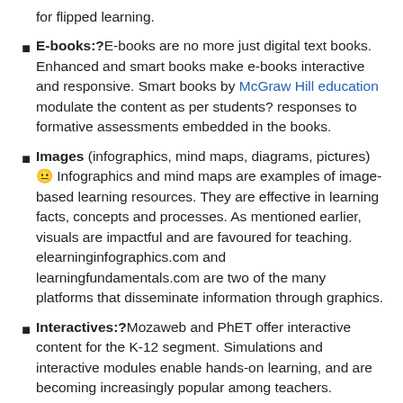for flipped learning.
E-books:? E-books are no more just digital text books. Enhanced and smart books make e-books interactive and responsive. Smart books by McGraw Hill education modulate the content as per students? responses to formative assessments embedded in the books.
Images (infographics, mind maps, diagrams, pictures) 😐 Infographics and mind maps are examples of image-based learning resources. They are effective in learning facts, concepts and processes. As mentioned earlier, visuals are impactful and are favoured for teaching. elearninginfographics.com and learningfundamentals.com are two of the many platforms that disseminate information through graphics.
Interactives:? Mozaweb and PhET offer interactive content for the K-12 segment. Simulations and interactive modules enable hands-on learning, and are becoming increasingly popular among teachers.
E-assessments:? E-assessments are available in both formative and summative forms. Electronic formative...